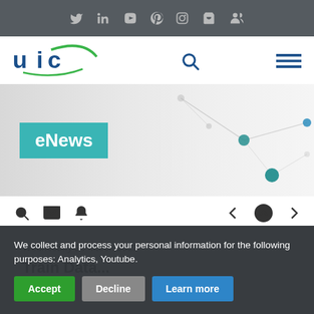[Figure (other): Social media icon bar with Twitter, LinkedIn, YouTube, Pinterest, Instagram, cart, and user icons on dark grey background]
[Figure (logo): UIC logo - blue and green stylized letters 'uic' with a swoosh]
[Figure (other): Navigation bar with search icon and hamburger menu]
[Figure (other): Hero banner with eNews badge and decorative network dot pattern on grey gradient background]
[Figure (other): Toolbar row with search, email, bell icons on left and back, home, forward icons on right]
Wednesday 23 March 2022
Train Data...
We collect and process your personal information for the following purposes: Analytics, Youtube.
Accept  Decline  Learn more